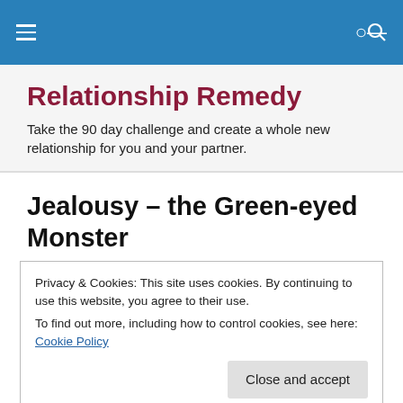Relationship Remedy
Take the 90 day challenge and create a whole new relationship for you and your partner.
Jealousy – the Green-eyed Monster
Privacy & Cookies: This site uses cookies. By continuing to use this website, you agree to their use.
To find out more, including how to control cookies, see here: Cookie Policy
Close and accept
[Figure (photo): Dark photo strip showing what appears to be a close-up of leaves or organic material in dark brown/green tones]